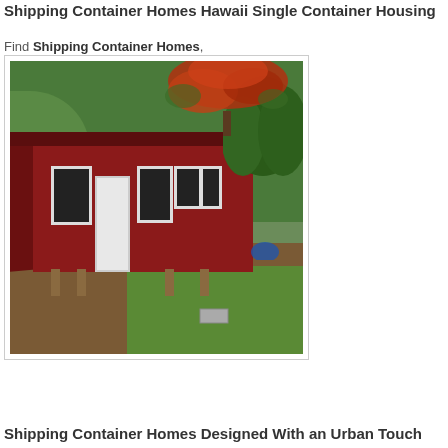Shipping Container Homes Hawaii Single Container Housing
Find Shipping Container Homes,
[Figure (photo): Photograph of a red shipping container home converted into a small residence, elevated on concrete block supports, with a white door, multiple windows with white trim, surrounded by green trees and a garden setting in Hawaii.]
Shipping Container Homes Designed With an Urban Touch